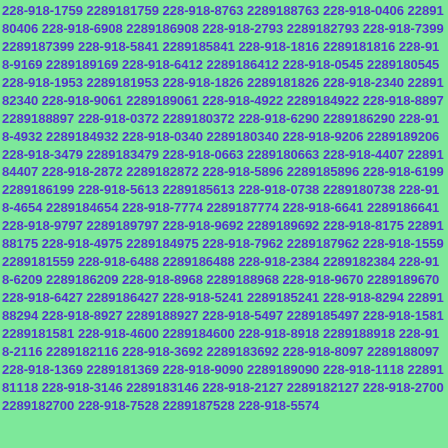228-918-1759 2289181759 228-918-8763 2289188763 228-918-0406 2289180406 228-918-6908 2289186908 228-918-2793 2289182793 228-918-7399 2289187399 228-918-5841 2289185841 228-918-1816 2289181816 228-918-9169 2289189169 228-918-6412 2289186412 228-918-0545 2289180545 228-918-1953 2289181953 228-918-1826 2289181826 228-918-2340 2289182340 228-918-9061 2289189061 228-918-4922 2289184922 228-918-8897 2289188897 228-918-0372 2289180372 228-918-6290 2289186290 228-918-4932 2289184932 228-918-0340 2289180340 228-918-9206 2289189206 228-918-3479 2289183479 228-918-0663 2289180663 228-918-4407 2289184407 228-918-2872 2289182872 228-918-5896 2289185896 228-918-6199 2289186199 228-918-5613 2289185613 228-918-0738 2289180738 228-918-4654 2289184654 228-918-7774 2289187774 228-918-6641 2289186641 228-918-9797 2289189797 228-918-9692 2289189692 228-918-8175 2289188175 228-918-4975 2289184975 228-918-7962 2289187962 228-918-1559 2289181559 228-918-6488 2289186488 228-918-2384 2289182384 228-918-6209 2289186209 228-918-8968 2289188968 228-918-9670 2289189670 228-918-6427 2289186427 228-918-5241 2289185241 228-918-8294 2289188294 228-918-8927 2289188927 228-918-5497 2289185497 228-918-1581 2289181581 228-918-4600 2289184600 228-918-8918 2289188918 228-918-2116 2289182116 228-918-3692 2289183692 228-918-8097 2289188097 228-918-1369 2289181369 228-918-9090 2289189090 228-918-1118 2289181118 228-918-3146 2289183146 228-918-2127 2289182127 228-918-2700 2289182700 228-918-7528 2289187528 228-918-5574